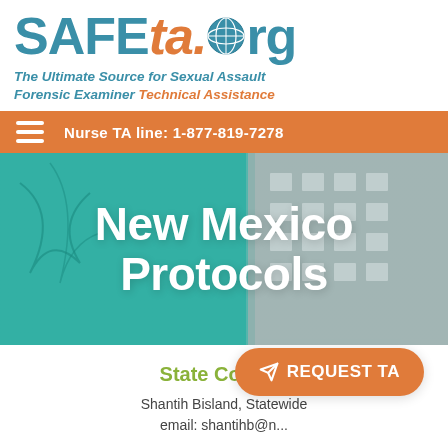[Figure (logo): SAFEta.org logo with globe icon — SAFE in teal, ta. in orange italic, globe icon, rg in teal]
The Ultimate Source for Sexual Assault Forensic Examiner Technical Assistance
Nurse TA line: 1-877-819-7278
New Mexico Protocols
State Contact
Shantih Bisland, Statewide... email: shantihb@n...
[Figure (other): REQUEST TA orange button with paper plane icon]